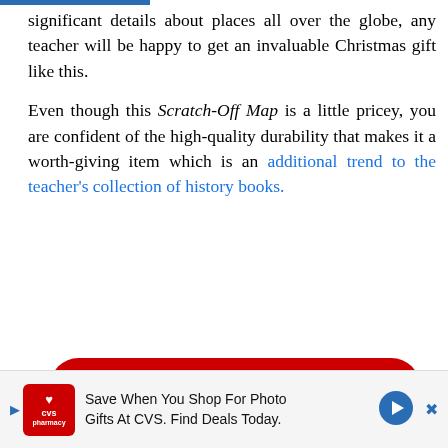significant details about places all over the globe, any teacher will be happy to get an invaluable Christmas gift like this.

Even though this Scratch-Off Map is a little pricey, you are confident of the high-quality durability that makes it a worth-giving item which is an additional trend to the teacher's collection of history books.
Get Yours On Amazon Now--->
6) THINKFIT INSULATED LUNCH
[Figure (infographic): CVS Pharmacy advertisement banner: 'Save When You Shop For Photo Gifts At CVS. Find Deals Today.']